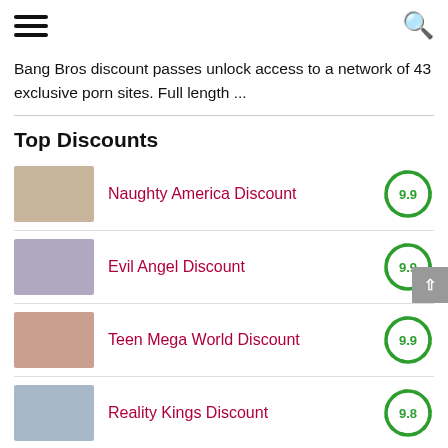Navigation menu and search icon
Bang Bros discount passes unlock access to a network of 43 exclusive porn sites. Full length ...
Top Discounts
Naughty America Discount — Score: 9.9
Evil Angel Discount — Score: 9.9
Teen Mega World Discount — Score: 9.9
Reality Kings Discount — Score: 9.8